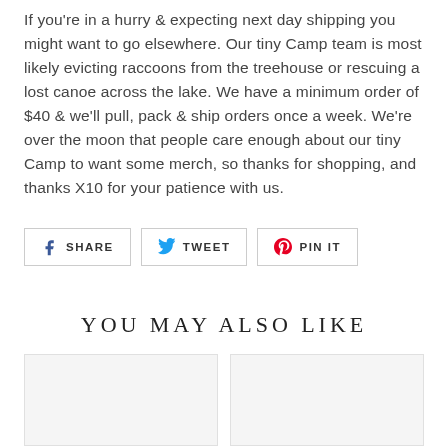If you're in a hurry & expecting next day shipping you might want to go elsewhere. Our tiny Camp team is most likely evicting raccoons from the treehouse or rescuing a lost canoe across the lake. We have a minimum order of $40 & we'll pull, pack & ship orders once a week. We're over the moon that people care enough about our tiny Camp to want some merch, so thanks for shopping, and thanks X10 for your patience with us.
[Figure (other): Social sharing buttons: Facebook SHARE, Twitter TWEET, Pinterest PIN IT]
YOU MAY ALSO LIKE
[Figure (other): Two product placeholder image cards side by side]